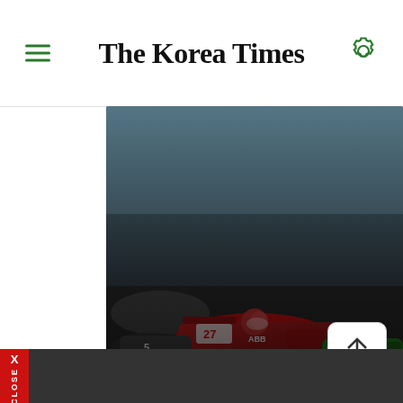The Korea Times
[Figure (photo): Formula E racing cars on track, featured hero image with overlay text 'E-Prix thrills racing fans in Seoul']
E-Prix thrills racing fans in Seoul